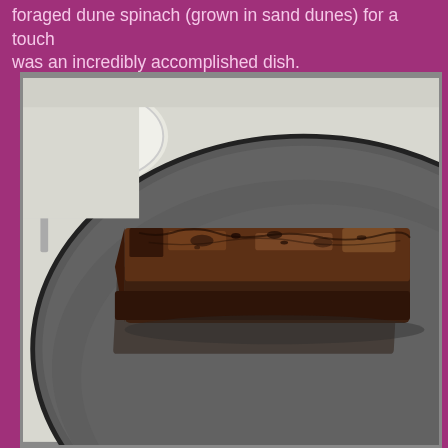foraged dune spinach (grown in sand dunes) for a touch... was an incredibly accomplished dish.
[Figure (photo): A piece of charred or heavily seared rectangular food (possibly meat or vegetable) resting on a dark round plate, viewed close up. The food item has a dark brown, textured surface. A partial white plate and fork are visible in the upper left background.]